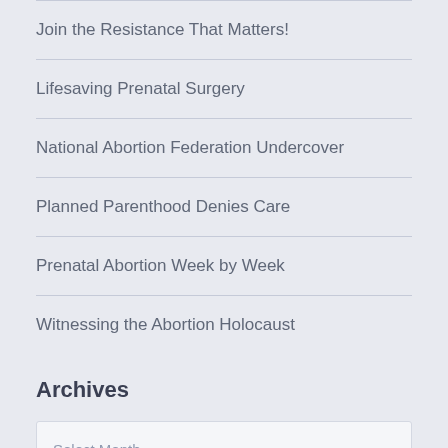Join the Resistance That Matters!
Lifesaving Prenatal Surgery
National Abortion Federation Undercover
Planned Parenthood Denies Care
Prenatal Abortion Week by Week
Witnessing the Abortion Holocaust
Archives
Select Month